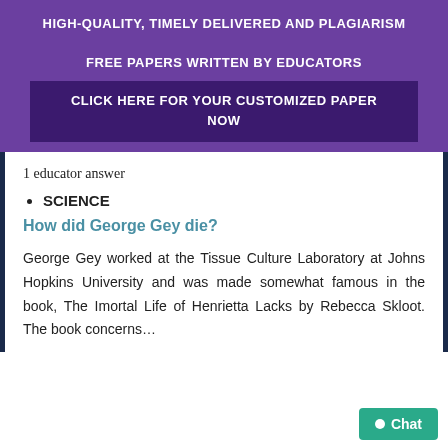HIGH-QUALITY, TIMELY DELIVERED AND PLAGIARISM FREE PAPERS WRITTEN BY EDUCATORS
CLICK HERE FOR YOUR CUSTOMIZED PAPER NOW
1 educator answer
SCIENCE
How did George Gey die?
George Gey worked at the Tissue Culture Laboratory at Johns Hopkins University and was made somewhat famous in the book, The Imortal Life of Henrietta Lacks by Rebecca Skloot. The book concerns…